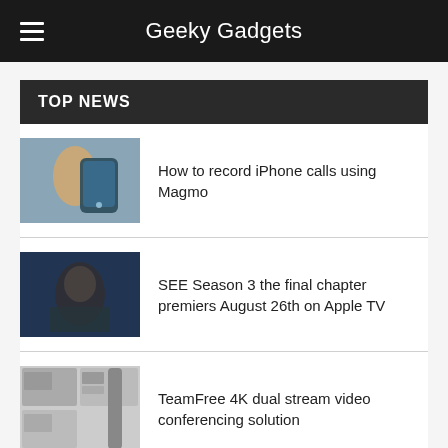Geeky Gadgets
TOP NEWS
How to record iPhone calls using Magmo
SEE Season 3 the final chapter premiers August 26th on Apple TV
TeamFree 4K dual stream video conferencing solution
2022 Motorola Edge is official